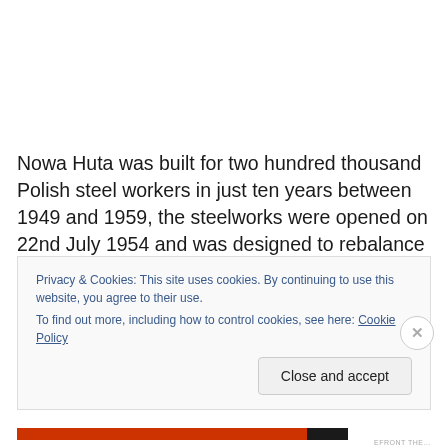Nowa Huta was built for two hundred thousand Polish steel workers in just ten years between 1949 and 1959, the steelworks were opened on 22nd July 1954 and was designed to rebalance Krakow society in favour of the proletariat to overwhelm the largely conservative and
Privacy & Cookies: This site uses cookies. By continuing to use this website, you agree to their use.
To find out more, including how to control cookies, see here: Cookie Policy
Close and accept